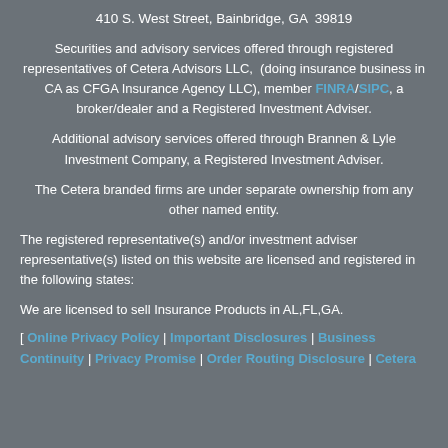410 S. West Street, Bainbridge, GA  39819
Securities and advisory services offered through registered representatives of Cetera Advisors LLC,  (doing insurance business in CA as CFGA Insurance Agency LLC), member FINRA/SIPC, a broker/dealer and a Registered Investment Adviser.
Additional advisory services offered through Brannen & Lyle Investment Company, a Registered Investment Adviser.
The Cetera branded firms are under separate ownership from any other named entity.
The registered representative(s) and/or investment adviser representative(s) listed on this website are licensed and registered in the following states:
We are licensed to sell Insurance Products in AL,FL,GA.
[ Online Privacy Policy | Important Disclosures | Business Continuity | Privacy Promise | Order Routing Disclosure | Cetera